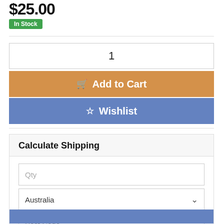$25.00
In Stock
1
Add to Cart
Wishlist
Calculate Shipping
Qty
Australia
Post Code